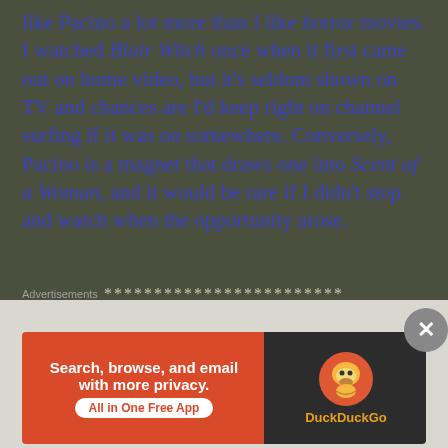like Pacino a lot more than I like horror movies. I watched Blair Witch once when it first came out on home video, but it's seldom shown on TV and chances are I'd keep right on channel surfing if it was on somewhere. Conversely, Pacino is a magnet that draws one into Scent of a Woman, and it would be rare if I didn't stop and watch when the opportunity arose.
************************
The Lion King
Release:    6/15/94
Starring:          Matthew Broderick, James Earl Jones, Jonathan Taylor Thomas
[Figure (screenshot): DuckDuckGo advertisement banner: Search, browse, and email with more privacy. All in One Free App. Shows DuckDuckGo logo on dark background.]